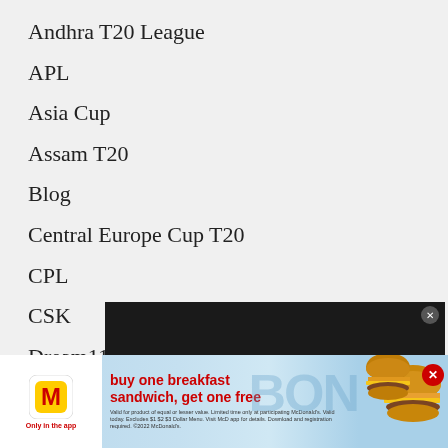Andhra T20 League
APL
Asia Cup
Assam T20
Blog
Central Europe Cup T20
CPL
CSK
Dream11 Prediction
Emirates D20
Fantasy Cricket Prediction
[Figure (screenshot): Video player overlay showing 'No compatible source was found for this media.']
[Figure (photo): McDonald's advertisement banner: 'buy one breakfast sandwich, get one free. Only in the app.' with food imagery and fine print.]